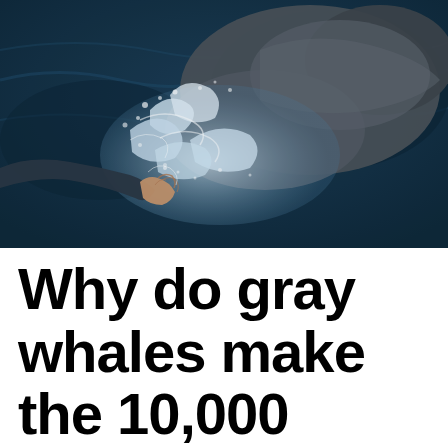[Figure (photo): A person in a dark jacket reaching out to touch a gray whale surfacing from dark blue ocean water, with white splashing water around the whale's body.]
Why do gray whales make the 10,000